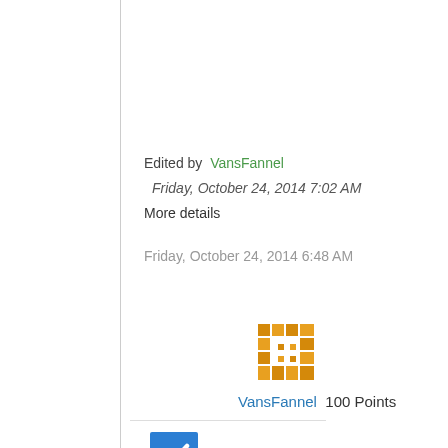Edited by  VansFannel
Friday, October 24, 2014 7:02 AM
More details
Friday, October 24, 2014 6:48 AM
[Figure (illustration): Orange pixelated/mosaic avatar icon for user VansFannel]
VansFannel  100 Points
[Figure (illustration): Blue checkbox with white checkmark]
[Figure (illustration): Upward pointing triangle/arrow icon (vote up)]
0
Sign in to vote